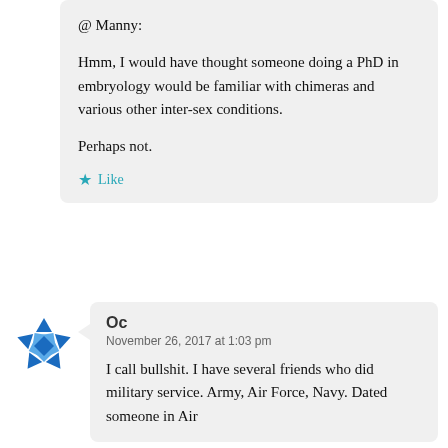@ Manny:
Hmm, I would have thought someone doing a PhD in embryology would be familiar with chimeras and various other inter-sex conditions.

Perhaps not.

★ Like
[Figure (illustration): Blue geometric avatar icon made of angular arrow-like shapes arranged in a circular pattern]
Oc
November 26, 2017 at 1:03 pm

I call bullshit. I have several friends who did military service. Army, Air Force, Navy. Dated someone in Air